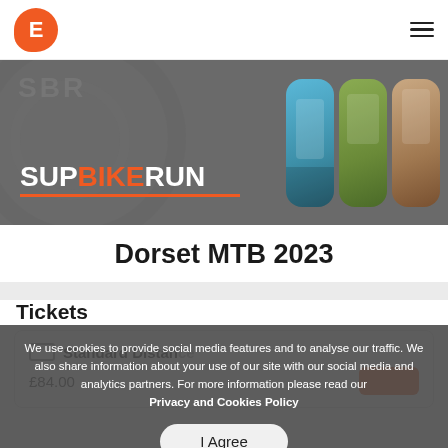[Figure (screenshot): Website header with orange E logo on left and hamburger menu icon on right]
[Figure (photo): SUP BIKE RUN banner with dark grey background, gear imagery, white and orange bold text logo, and three photo strips showing paddleboarding, mountain biking, and running]
Dorset MTB 2023
Tickets
Standard Distance
We use cookies to provide social media features and to analyse our traffic. We also share information about your use of our site with our social media and analytics partners. For more information please read our Privacy and Cookies Policy
I Agree
£84.00